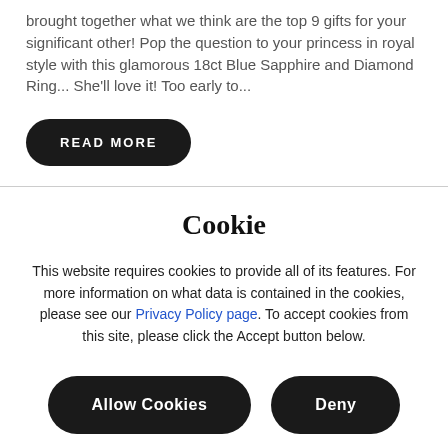brought together what we think are the top 9 gifts for your significant other! Pop the question to your princess in royal style with this glamorous 18ct Blue Sapphire and Diamond Ring... She'll love it! Too early to...
READ MORE
Cookie
This website requires cookies to provide all of its features. For more information on what data is contained in the cookies, please see our Privacy Policy page. To accept cookies from this site, please click the Accept button below.
Allow Cookies
Deny